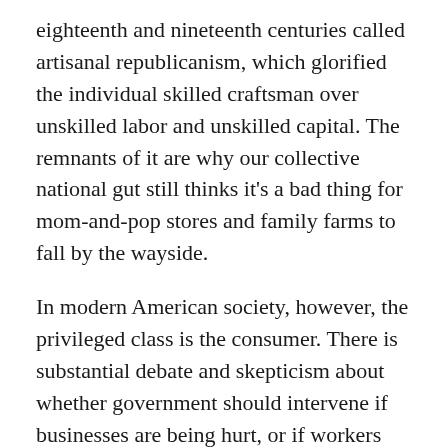eighteenth and nineteenth centuries called artisanal republicanism, which glorified the individual skilled craftsman over unskilled labor and unskilled capital. The remnants of it are why our collective national gut still thinks it's a bad thing for mom-and-pop stores and family farms to fall by the wayside.
In modern American society, however, the privileged class is the consumer. There is substantial debate and skepticism about whether government should intervene if businesses are being hurt, or if workers are getting the shaft. But it is more or less generally accepted that if the consumer is being hurt, government can and should intervene. “Let the buyer beware” no longer applies; we expect the government to protect us from unjustly high prices and shoddy products (see, for example, the current furor over gas prices).
In modern American society, however, the privileged